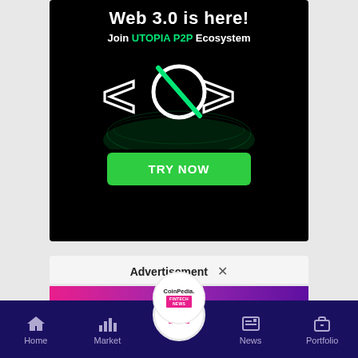[Figure (illustration): Web 3.0 advertisement banner for UTOPIA P2P Ecosystem with dark background, green glowing logo, globe graphic and TRY NOW button]
Advertisement ×
[Figure (logo): CoinPedia Fintech News logo circle over pink-to-purple gradient banner]
Home  Market  [CoinPedia Fintech News]  News  Portfolio